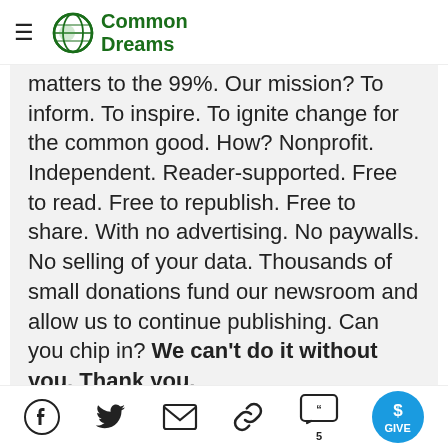Common Dreams
matters to the 99%. Our mission? To inform. To inspire. To ignite change for the common good. How? Nonprofit. Independent. Reader-supported. Free to read. Free to republish. Free to share. With no advertising. No paywalls. No selling of your data. Thousands of small donations fund our newsroom and allow us to continue publishing. Can you chip in? We can't do it without you. Thank you.
Facebook Twitter Email Link Comments 5 GIVE